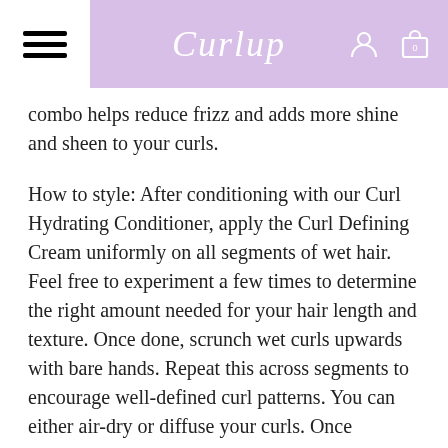Curlup
combo helps reduce frizz and adds more shine and sheen to your curls.
How to style: After conditioning with our Curl Hydrating Conditioner, apply the Curl Defining Cream uniformly on all segments of wet hair. Feel free to experiment a few times to determine the right amount needed for your hair length and texture. Once done, scrunch wet curls upwards with bare hands. Repeat this across segments to encourage well-defined curl patterns. You can either air-dry or diffuse your curls. Once completely dry, gently scrunch your hair to break the cast and get-set to flaunt soft, bouncy curls!
A Curly Girl's BFF
We have been very particular and meticulous in